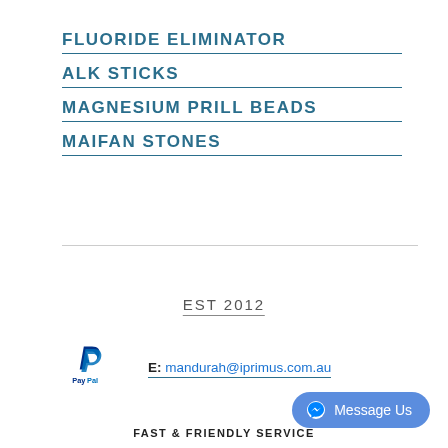FLUORIDE ELIMINATOR
ALK STICKS
MAGNESIUM PRILL BEADS
MAIFAN STONES
EST 2012
[Figure (logo): PayPal logo]
E: mandurah@iprimus.com.au
[Figure (other): Message Us button with Messenger icon]
FAST & FRIENDLY SERVICE